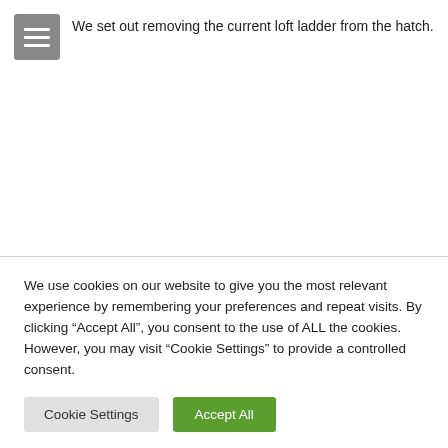We set out removing the current loft ladder from the hatch.
We use cookies on our website to give you the most relevant experience by remembering your preferences and repeat visits. By clicking “Accept All”, you consent to the use of ALL the cookies. However, you may visit "Cookie Settings" to provide a controlled consent.
Cookie Settings
Accept All